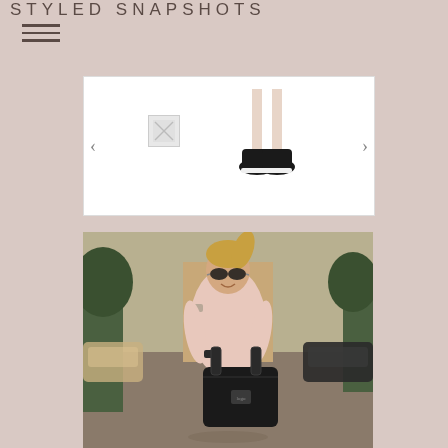STYLED SNAPSHOTS
[Figure (photo): Product carousel showing a white background with navigation arrows. Left arrow, a small broken/thumbnail image icon, and a right arrow. Center shows a pair of black slip-on shoes/sneakers on a white background.]
[Figure (photo): Street style photograph of a blonde woman in a pink cold-shoulder knit sweater, wearing aviator sunglasses, carrying a large black leather tote bag, standing on a city street with cars and trees in the background.]